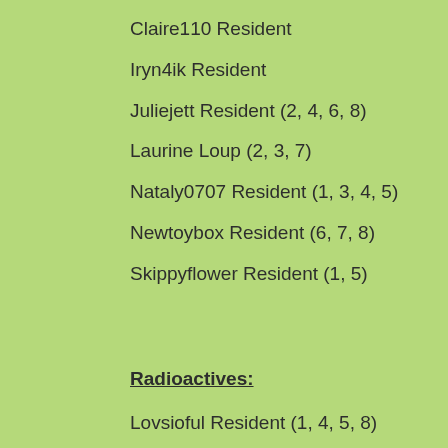Claire110 Resident
Iryn4ik Resident
Juliejett Resident (2, 4, 6, 8)
Laurine Loup (2, 3, 7)
Nataly0707 Resident (1, 3, 4, 5)
Newtoybox Resident (6, 7, 8)
Skippyflower Resident (1, 5)
Radioactives:
Lovsioful Resident (1, 4, 5, 8)